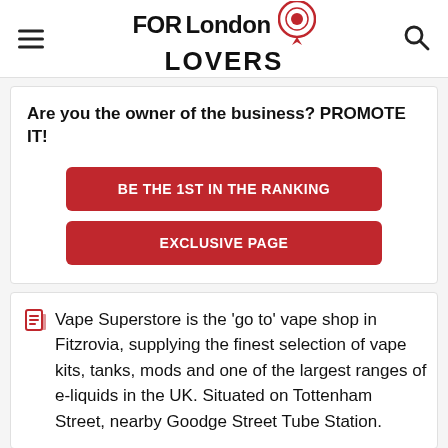FOR London LOVERS
Are you the owner of the business? PROMOTE IT!
BE THE 1ST IN THE RANKING
EXCLUSIVE PAGE
Vape Superstore is the 'go to' vape shop in Fitzrovia, supplying the finest selection of vape kits, tanks, mods and one of the largest ranges of e-liquids in the UK. Situated on Tottenham Street, nearby Goodge Street Tube Station.